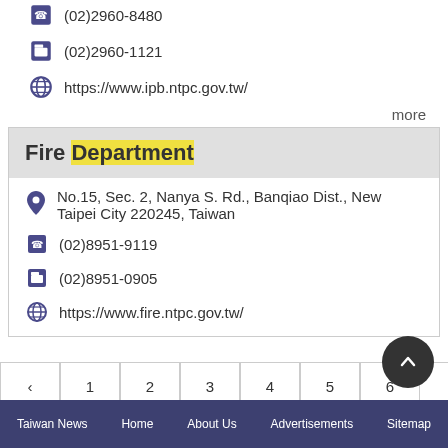(02)2960-8480
(02)2960-1121
https://www.ipb.ntpc.gov.tw/
more
Fire Department
No.15, Sec. 2, Nanya S. Rd., Banqiao Dist., New Taipei City 220245, Taiwan
(02)8951-9119
(02)8951-0905
https://www.fire.ntpc.gov.tw/
more
‹ 1 2 3 4 5 6 7 8 9 10 ... 17 18 ›
Taiwan News  Home  About Us  Advertisements  Sitemap